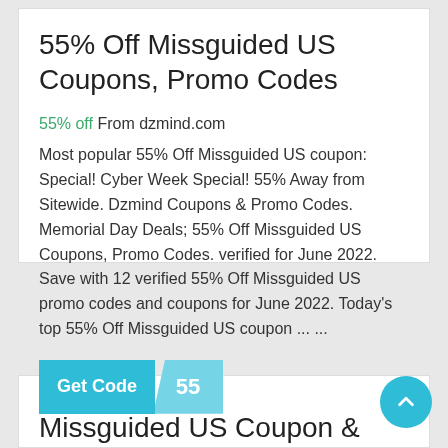55% Off Missguided US Coupons, Promo Codes
55% off From dzmind.com
Most popular 55% Off Missguided US coupon: Special! Cyber Week Special! 55% Away from Sitewide. Dzmind Coupons & Promo Codes. Memorial Day Deals; 55% Off Missguided US Coupons, Promo Codes. verified for June 2022. Save with 12 verified 55% Off Missguided US promo codes and coupons for June 2022. Today's top 55% Off Missguided US coupon ... ...
Missguided US Coupon & Promo